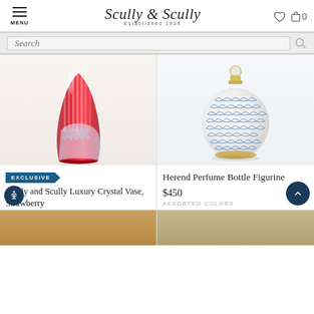Scully & Scully — Established 1934 — MENU, heart icon, bag icon (0 items)
Search
[Figure (photo): Red crystal vase with ribbed and diamond-cut pattern, Scully and Scully Luxury Crystal Vase Strawberry]
EXCLUSIVE
Scully and Scully Luxury Crystal Vase, Strawberry
[Figure (photo): Herend blue fishnet pattern round perfume bottle figurine with small stopper]
Herend Perfume Bottle Figurine
$450
ASSORTED COLORS
[Figure (photo): Partial view of bottom product, brownish/gold decorative item]
[Figure (photo): Partial view of bottom right product, round dark object]